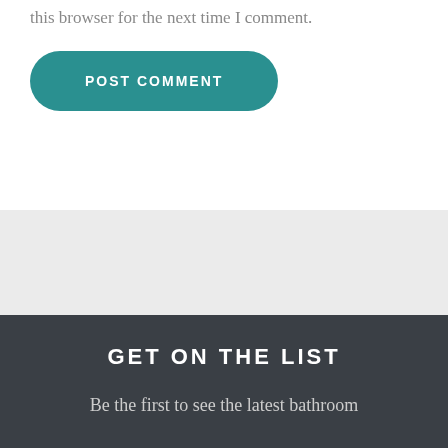this browser for the next time I comment.
POST COMMENT
GET ON THE LIST
Be the first to see the latest bathroom